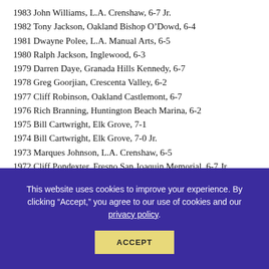1983 John Williams, L.A. Crenshaw, 6-7 Jr.
1982 Tony Jackson, Oakland Bishop O’Dowd, 6-4
1981 Dwayne Polee, L.A. Manual Arts, 6-5
1980 Ralph Jackson, Inglewood, 6-3
1979 Darren Daye, Granada Hills Kennedy, 6-7
1978 Greg Goorjian, Crescenta Valley, 6-2
1977 Cliff Robinson, Oakland Castlemont, 6-7
1976 Rich Branning, Huntington Beach Marina, 6-2
1975 Bill Cartwright, Elk Grove, 7-1
1974 Bill Cartwright, Elk Grove, 7-0 Jr.
1973 Marques Johnson, L.A. Crenshaw, 6-5
1972 Cliff Pondexter, Fresno San Joaquin Memorial, 6-7 Jr.
1971 Roscoe Pondexter, Fresno San Joaquin Memorial, 6-6
1970 Bill Walton, La Mesa Helix, 6-10
This website uses cookies to improve your experience. By clicking “Accept,” you agree to our use of cookies and our privacy policy.